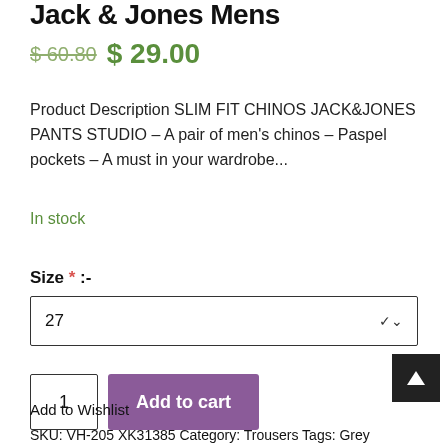Jack & Jones Mens
$ 60.80 $ 29.00
Product Description SLIM FIT CHINOS JACK&JONES PANTS STUDIO – A pair of men's chinos – Paspel pockets – A must in your wardrobe...
In stock
Size * :-
27
1
Add to cart
Add to Wishlist
SKU: VH-205 XK31385 Category: Trousers Tags: Grey